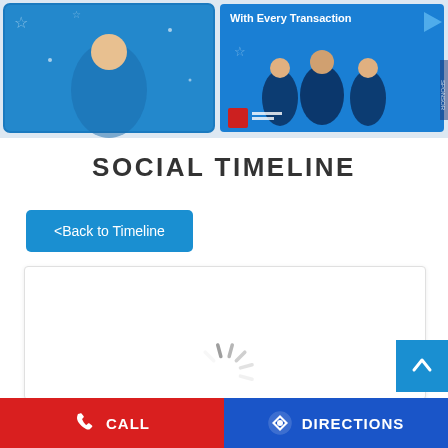[Figure (screenshot): Top banner with two promotional images: left side shows a person in blue background with star decorations, right side shows cricket players with text 'With Every Transaction' on blue background]
SOCIAL TIMELINE
<Back to Timeline
[Figure (screenshot): White content card with loading spinner (dark gray radial lines) indicating content is loading]
CALL   DIRECTIONS